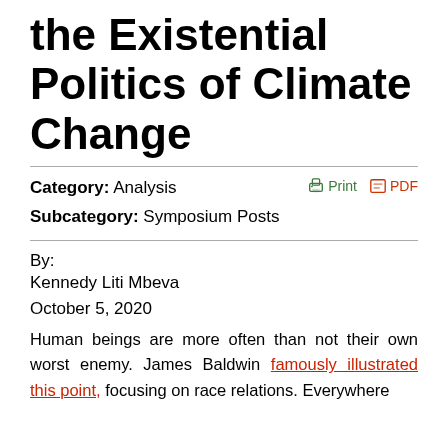the Existential Politics of Climate Change
Category:  Analysis
Subcategory:  Symposium Posts
Print  PDF
By:
Kennedy Liti Mbeva
October 5, 2020
Human beings are more often than not their own worst enemy. James Baldwin famously illustrated this point, focusing on race relations. Everywhere